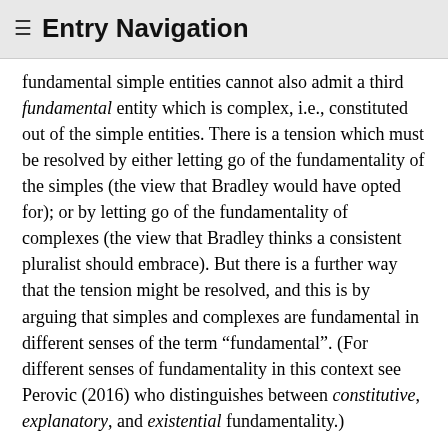≡ Entry Navigation
fundamental simple entities cannot also admit a third fundamental entity which is complex, i.e., constituted out of the simple entities. There is a tension which must be resolved by either letting go of the fundamentality of the simples (the view that Bradley would have opted for); or by letting go of the fundamentality of complexes (the view that Bradley thinks a consistent pluralist should embrace). But there is a further way that the tension might be resolved, and this is by arguing that simples and complexes are fundamental in different senses of the term “fundamental”. (For different senses of fundamentality in this context see Perovic (2016) who distinguishes between constitutive, explanatory, and existential fundamentality.)
Russell’s own reply to Bradley focused on clarifying the sense in which he claimed that complex unities cannot be analyzed. He wrote back the following:
It would seem that everything here turns upon the